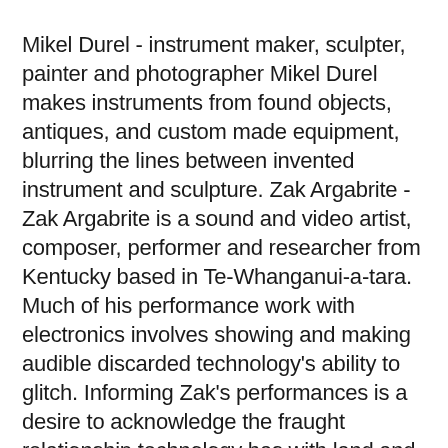Mikel Durel - instrument maker, sculpter, painter and photographer Mikel Durel makes instruments from found objects, antiques, and custom made equipment, blurring the lines between invented instrument and sculpture. Zak Argabrite - Zak Argabrite is a sound and video artist, composer, performer and researcher from Kentucky based in Te-Whanganui-a-tara. Much of his performance work with electronics involves showing and making audible discarded technology's ability to glitch. Informing Zak's performances is a desire to acknowledge the fraught relationship technology has with land and time — its histories of land extraction to its futures in landfills. Steve Roche - celebrated Plan 9 film score composer Steve Roche creates invented instruments from found objects including the